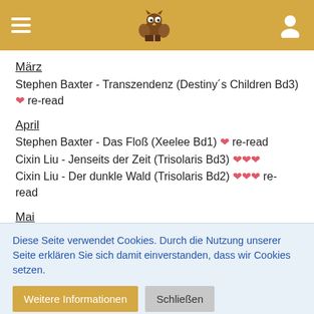Navigation header with hamburger menu, owl logo, user icon
März
Stephen Baxter - Transzendenz (Destiny's Children Bd3) ❤ re-read
April
Stephen Baxter - Das Floß (Xeelee Bd1) ❤ re-read
Cixin Liu - Jenseits der Zeit (Trisolaris Bd3) ❤❤❤
Cixin Liu - Der dunkle Wald (Trisolaris Bd2) ❤❤❤ re-read
Mai
?
Juni
Stephen Baxter - Das Geflecht der Unendlichkeit (Xeelee Bd2) ❤
Diese Seite verwendet Cookies. Durch die Nutzung unserer Seite erklären Sie sich damit einverstanden, dass wir Cookies setzen.